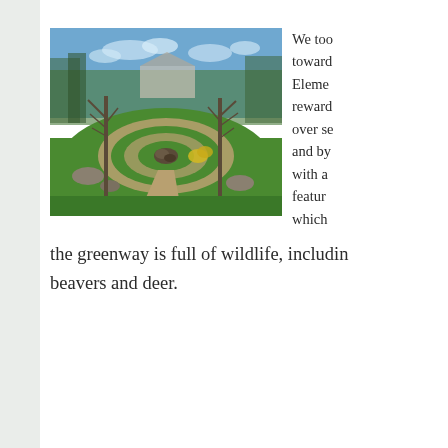[Figure (photo): Outdoor garden scene with circular gravel path, green lawn, bare trees, and a central rock/sculpture feature under a blue sky.]
We too towards Eleme reward over se and by with a featur which the greenway is full of wildlife, includin beavers and deer.